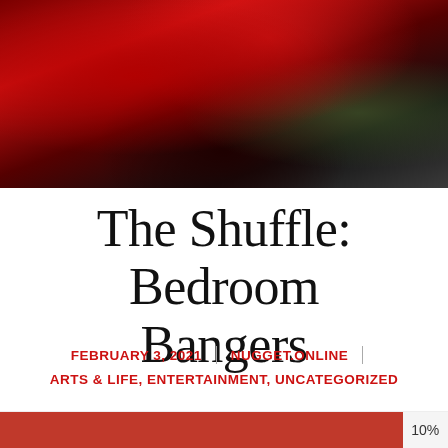[Figure (photo): Close-up photo of red roses or red fabric with dark background and green element]
The Shuffle: Bedroom Bangers
FEBRUARY 3, 2021 | NUGGET.ONLINE
ARTS & LIFE, ENTERTAINMENT, UNCATEGORIZED
[Figure (infographic): Red progress bar showing 10% reading progress at bottom of page]